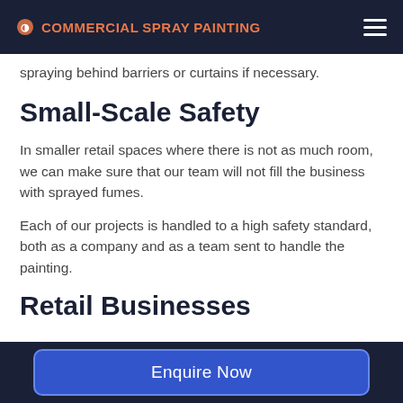COMMERCIAL SPRAY PAINTING
spraying behind barriers or curtains if necessary.
Small-Scale Safety
In smaller retail spaces where there is not as much room, we can make sure that our team will not fill the business with sprayed fumes.
Each of our projects is handled to a high safety standard, both as a company and as a team sent to handle the painting.
Retail Businesses
Enquire Now